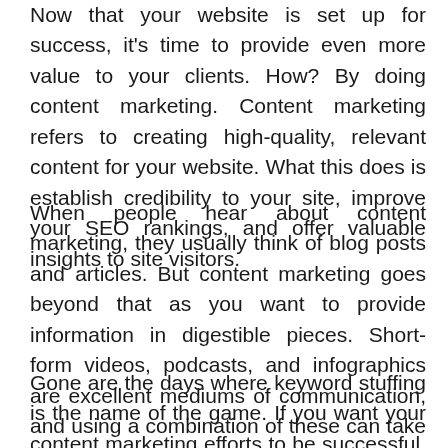Now that your website is set up for success, it's time to provide even more value to your clients. How? By doing content marketing. Content marketing refers to creating high-quality, relevant content for your website. What this does is establish credibility to your site, improve your SEO rankings, and offer valuable insights to site visitors.
When people hear about content marketing, they usually think of blog posts and articles. But content marketing goes beyond that as you want to provide information in digestible pieces. Short-form videos, podcasts, and infographics are excellent mediums of communication, and using a combination of these can take your content marketing to the next level.
Gone are the days where keyword stuffing is the name of the game. If you want your content marketing efforts to be successful, you need to focus on creating content that resonates with your clients. Remember, this marketing tactic is not about promoting your brand, it's about